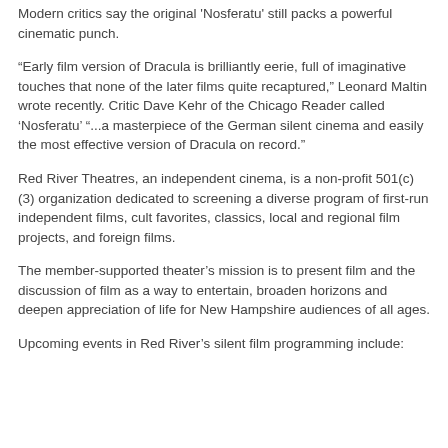Modern critics say the original 'Nosferatu' still packs a powerful cinematic punch.
“Early film version of Dracula is brilliantly eerie, full of imaginative touches that none of the later films quite recaptured,” Leonard Maltin wrote recently. Critic Dave Kehr of the Chicago Reader called ‘Nosferatu’ “...a masterpiece of the German silent cinema and easily the most effective version of Dracula on record.”
Red River Theatres, an independent cinema, is a non-profit 501(c)(3) organization dedicated to screening a diverse program of first-run independent films, cult favorites, classics, local and regional film projects, and foreign films.
The member-supported theater’s mission is to present film and the discussion of film as a way to entertain, broaden horizons and deepen appreciation of life for New Hampshire audiences of all ages.
Upcoming events in Red River’s silent film programming include: